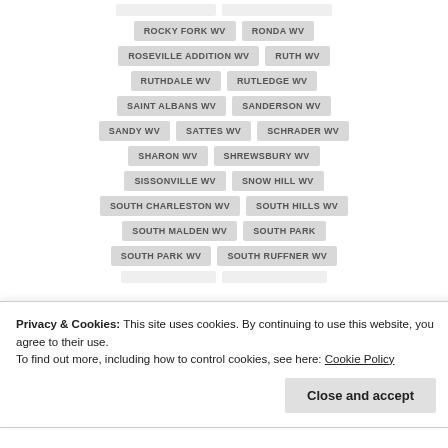ROCKY FORK WV
RONDA WV
ROSEVILLE ADDITION WV
RUTH WV
RUTHDALE WV
RUTLEDGE WV
SAINT ALBANS WV
SANDERSON WV
SANDY WV
SATTES WV
SCHRADER WV
SHARON WV
SHREWSBURY WV
SISSONVILLE WV
SNOW HILL WV
SOUTH CHARLESTON WV
SOUTH HILLS WV
SOUTH MALDEN WV
SOUTH PARK
SOUTH PARK WV
SOUTH RUFFNER WV
Privacy & Cookies: This site uses cookies. By continuing to use this website, you agree to their use.
To find out more, including how to control cookies, see here: Cookie Policy
Close and accept